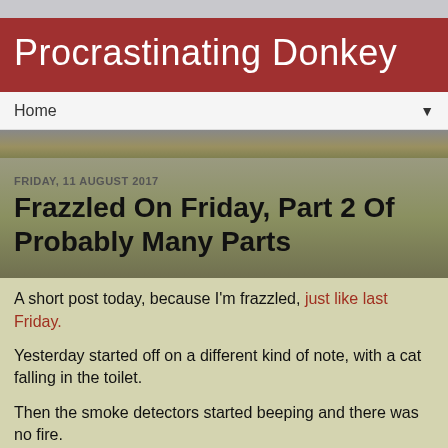Procrastinating Donkey
Home
FRIDAY, 11 AUGUST 2017
Frazzled On Friday, Part 2 Of Probably Many Parts
A short post today, because I'm frazzled, just like last Friday.
Yesterday started off on a different kind of note, with a cat falling in the toilet.
Then the smoke detectors started beeping and there was no fire.
Then I drove two hours to see my son and my ex-cat,